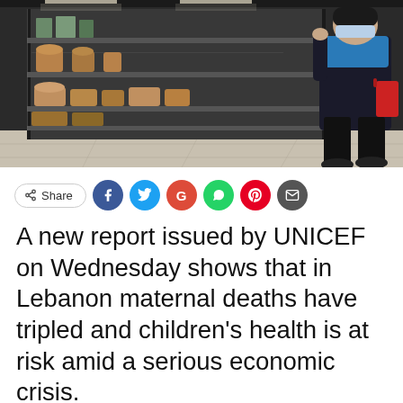[Figure (photo): Nearly empty supermarket shelves with sparse food items; a person in a blue top and dark pants stands at the right side holding a red shopping basket, viewed from behind.]
Share (social share buttons: Facebook, Twitter, Google, WhatsApp, Pinterest, Email)
A new report issued by UNICEF on Wednesday shows that in Lebanon maternal deaths have tripled and children's health is at risk amid a serious economic crisis.
By Vatican News staff reporter